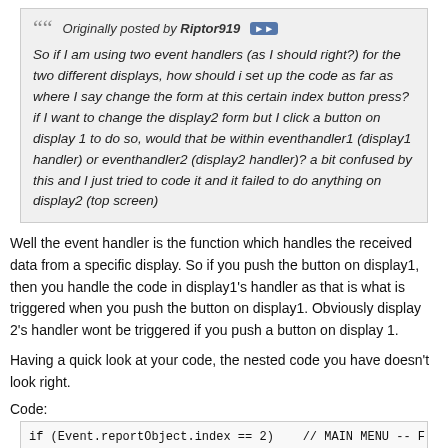Originally posted by Riptor919 [>>]
So if I am using two event handlers (as I should right?) for the two different displays, how should i set up the code as far as where I say change the form at this certain index button press? if I want to change the display2 form but I click a button on display 1 to do so, would that be within eventhandler1 (display1 handler) or eventhandler2 (display2 handler)? a bit confused by this and I just tried to code it and it failed to do anything on display2 (top screen)
Well the event handler is the function which handles the received data from a specific display. So if you push the button on display1, then you handle the code in display1's handler as that is what is triggered when you push the button on display1. Obviously display 2's handler wont be triggered if you push a button on display 1.
Having a quick look at your code, the nested code you have doesn't look right.
Code:
[Figure (screenshot): Code block showing C++ code with if (Event.reportObject.index == 2) // MAIN MENU -- F{ display2.WriteObject(GENIE_OBJ_FORM, 1, 0); if (Event.reportObject.index == 0) // RESET { // RESET BOTH Digit Objects to all zeros Serial.println("RESETTING FREQUENCIES");]